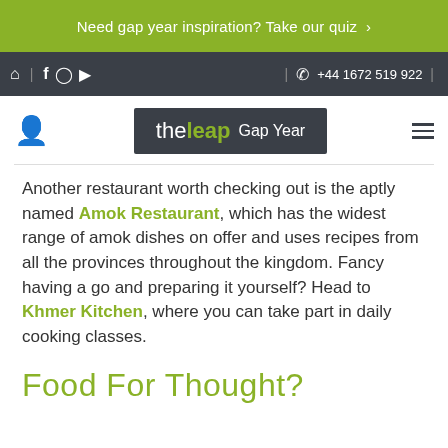Need gap year inspiration? Take our quiz ›
🏠 | f 📷 ▶ | 📞 +44 1672 519 922 |
[Figure (logo): The Leap Gap Year logo in dark grey box with white 'the', green 'leap', and light 'Gap Year' text]
Another restaurant worth checking out is the aptly named Amok Restaurant, which has the widest range of amok dishes on offer and uses recipes from all the provinces throughout the kingdom. Fancy having a go and preparing it yourself? Head to Khmer Kitchen, where you can take part in daily cooking classes.
Food For Thought?